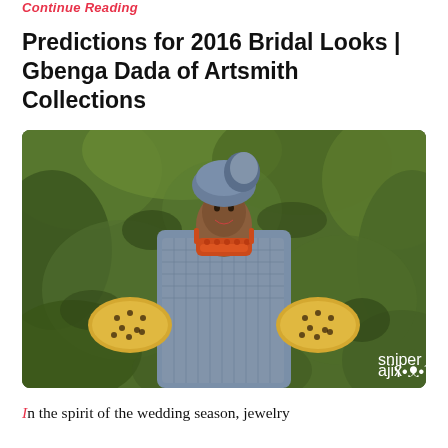Continue Reading
Predictions for 2016 Bridal Looks | Gbenga Dada of Artsmith Collections
[Figure (photo): A woman in traditional African bridal attire wearing a blue patterned aso-oke outfit with yellow lace sleeves, orange coral beaded necklace and earrings, a blue gele headwrap, smiling against a green foliage background. Watermark reads 'sniper ajix' in the bottom right corner.]
In the spirit of the wedding season, jewelry